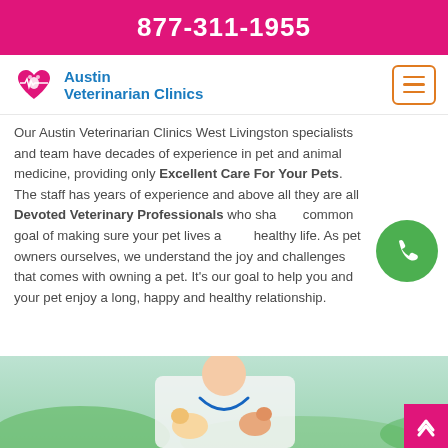877-311-1955
[Figure (logo): Austin Veterinarian Clinics logo with heart and paw icon]
Our Austin Veterinarian Clinics West Livingston specialists and team have decades of experience in pet and animal medicine, providing only Excellent Care For Your Pets. The staff has years of experience and above all they are all Devoted Veterinary Professionals who share a common goal of making sure your pet lives a long healthy life. As pet owners ourselves, we understand the joy and challenges that comes with owning a pet. It's our goal to help you and your pet enjoy a long, happy and healthy relationship.
[Figure (photo): Veterinarian in white coat holding a puppy and a kitten]